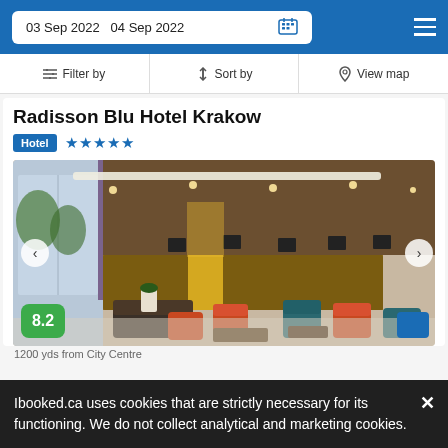03 Sep 2022  04 Sep 2022
Filter by  Sort by  View map
Radisson Blu Hotel Krakow
Hotel ★★★★★
[Figure (photo): Interior lobby of Radisson Blu Hotel Krakow showing a modern reception desk with wooden paneling, seating area with teal and orange chairs, and large windows.]
8.2
Ibooked.ca uses cookies that are strictly necessary for its functioning. We do not collect analytical and marketing cookies.
1200 yds from City Centre